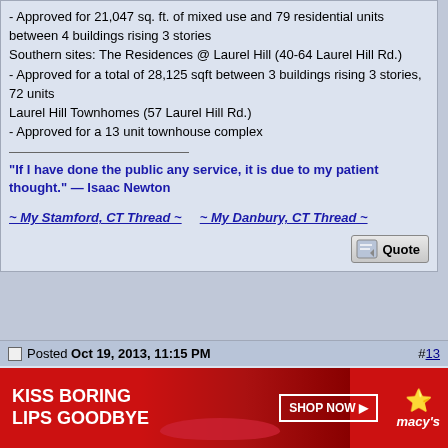- Approved for 21,047 sq. ft. of mixed use and 79 residential units between 4 buildings rising 3 stories
Southern sites: The Residences @ Laurel Hill (40-64 Laurel Hill Rd.)
- Approved for a total of 28,125 sqft between 3 buildings rising 3 stories, 72 units
Laurel Hill Townhomes (57 Laurel Hill Rd.)
- Approved for a 13 unit townhouse complex
“If I have done the public any service, it is due to my patient thought.” — Isaac Newton
~ My Stamford, CT Thread ~    ~ My Danbury, CT Thread ~
Posted Oct 19, 2013, 11:15 PM  #13
[Figure (photo): Satellite in orbit illustration, dark blue space background with bright star/sun and satellite]
Hypothalamus
Homo sapiens sapiens
Join Date: May 2012
Location: 3rd planet from the Sun
Posts: 1,666
[Figure (infographic): Macy's advertisement: KISS BORING LIPS GOODBYE, SHOP NOW button, red background with woman's face and red lips, star logo, macy's text]